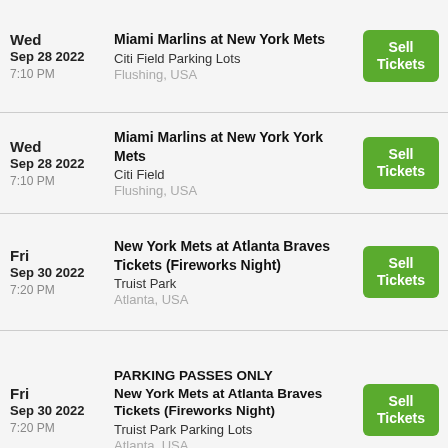Wed Sep 28 2022 7:10 PM — Miami Marlins at New York Mets — Citi Field Parking Lots — Flushing, USA — Sell Tickets
Wed Sep 28 2022 7:10 PM — Miami Marlins at New York Mets — Citi Field — Flushing, USA — Sell Tickets
Fri Sep 30 2022 7:20 PM — New York Mets at Atlanta Braves Tickets (Fireworks Night) — Truist Park — Atlanta, USA — Sell Tickets
Fri Sep 30 2022 7:20 PM — PARKING PASSES ONLY New York Mets at Atlanta Braves Tickets (Fireworks Night) — Truist Park Parking Lots — Atlanta, USA — Sell Tickets
PARKING PASSES ONLY (partial, cut off)